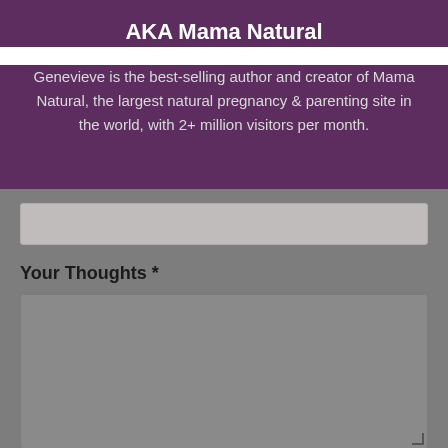AKA Mama Natural
Genevieve is the best-selling author and creator of Mama Natural, the largest natural pregnancy & parenting site in the world, with 2+ million visitors per month.
[Figure (screenshot): A text input field (empty) on a gray background]
Your Thoughts *
[Figure (screenshot): A large textarea input field (empty) on a gray background with a resize handle in the bottom right corner]